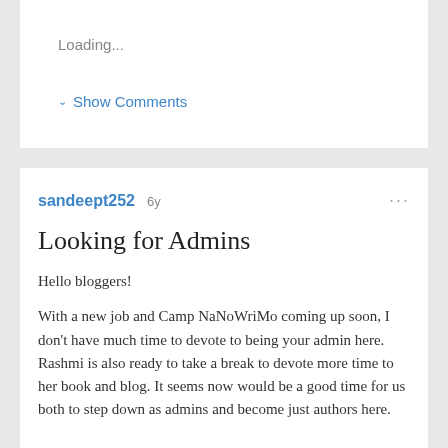Loading...
Show Comments
sandeept252 6y
Looking for Admins
Hello bloggers!
With a new job and Camp NaNoWriMo coming up soon, I don't have much time to devote to being your admin here. Rashmi is also ready to take a break to devote more time to her book and blog. It seems now would be a good time for us both to step down as admins and become just authors here.